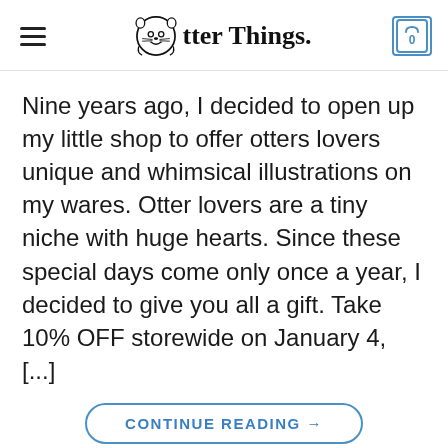Otter Things
Nine years ago, I decided to open up my little shop to offer otters lovers unique and whimsical illustrations on my wares. Otter lovers are a tiny niche with huge hearts. Since these special days come only once a year, I decided to give you all a gift. Take 10% OFF storewide on January 4, [...]
CONTINUE READING →
This site uses cookies to offer you a better browsing experience. By browsing this website, you agree to our use of cookies.
MORE INFO    ACCEPT